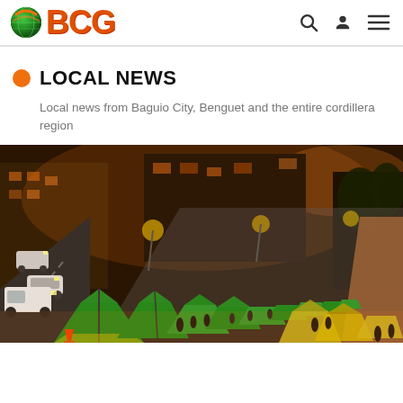BCG
LOCAL NEWS
Local news from Baguio City, Benguet and the entire cordillera region
[Figure (photo): Aerial night view of a busy outdoor market with green and yellow-green vendor tents lining a street in Baguio City, Philippines. Cars on the left, pedestrians browsing stalls under orange street lighting.]